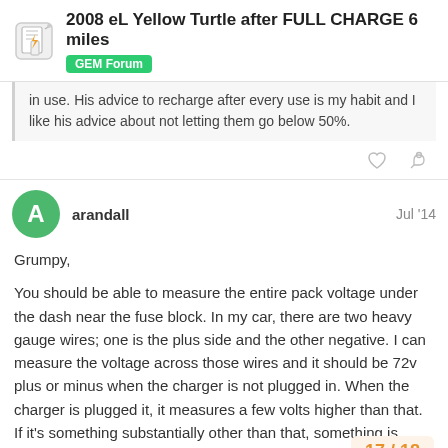2008 eL Yellow Turtle after FULL CHARGE 6 miles — GEM Forum
in use. His advice to recharge after every use is my habit and I like his advice about not letting them go below 50%.
arandall  Jul '14
Grumpy,

You should be able to measure the entire pack voltage under the dash near the fuse block. In my car, there are two heavy gauge wires; one is the plus side and the other negative. I can measure the voltage across those wires and it should be 72v plus or minus when the charger is not plugged in. When the charger is plugged it, it measures a few volts higher than that. If it's something substantially other than that, something is amiss. 38v is way too low of a reading.
17 / 18